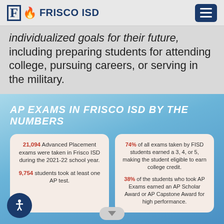FRISCO ISD
individualized goals for their future, including preparing students for attending college, pursuing careers, or serving in the military.
[Figure (infographic): AP Exams in Frisco ISD by the Numbers infographic with blue gradient background. Contains two cards: Left card: 21,094 Advanced Placement exams were taken in Frisco ISD during the 2021-22 school year. 9,754 students took at least one AP test. Right card: 74% of all exams taken by FISD students earned a 3, 4, or 5, making the student eligible to earn college credit. 38% of the students who took AP Exams earned an AP Scholar Award or AP Capstone Award for high performance.]